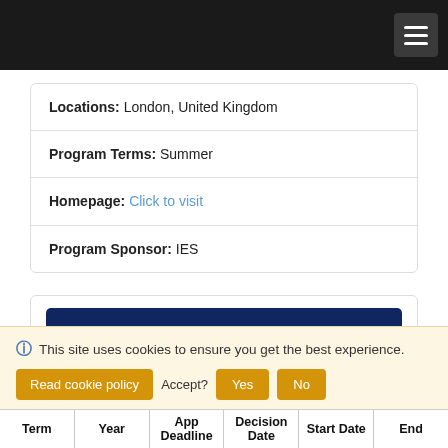Navigation bar with hamburger menu
| Locations: | London, United Kingdom |
| Program Terms: | Summer |
| Homepage: | Click to visit |
| Program Sponsor: | IES |
Start New Application
Request Info
This site uses cookies to ensure you get the best experience. Read cookie policy  Accept?  Yes  No
| Term | Year | App Deadline | Decision Date | Start Date | End |
| --- | --- | --- | --- | --- | --- |